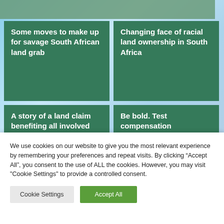Some moves to make up for savage South African land grab
Changing face of racial land ownership in South Africa
A story of a land claim benefiting all involved
Be bold. Test compensation provisions': State told to speed up land reform
We use cookies on our website to give you the most relevant experience by remembering your preferences and repeat visits. By clicking “Accept All”, you consent to the use of ALL the cookies. However, you may visit "Cookie Settings" to provide a controlled consent.